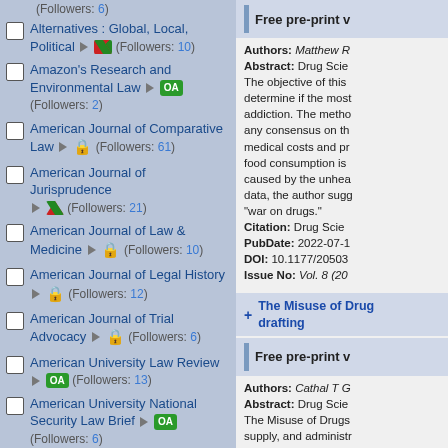Alternatives : Global, Local, Political (Followers: 10)
Amazon's Research and Environmental Law OA (Followers: 2)
American Journal of Comparative Law (Followers: 61)
American Journal of Jurisprudence (Followers: 21)
American Journal of Law & Medicine (Followers: 10)
American Journal of Legal History (Followers: 12)
American Journal of Trial Advocacy (Followers: 6)
American University Law Review OA (Followers: 13)
American University National Security Law Brief OA (Followers: 6)
Amicus Curiae OA (Followers: 5)
Free pre-print v
Authors: Matthew R
Abstract: Drug Scie The objective of this determine if the most addiction. The metho any consensus on the medical costs and pr food consumption is caused by the unhea data, the author sugg "war on drugs."
Citation: Drug Scie PubDate: 2022-07-1 DOI: 10.1177/20503 Issue No: Vol. 8 (20
The Misuse of Drug drafting
Free pre-print v
Authors: Cathal T G
Abstract: Drug Scie The Misuse of Drugs supply, and administr patients without rend 1971.As the scope of professions, so must